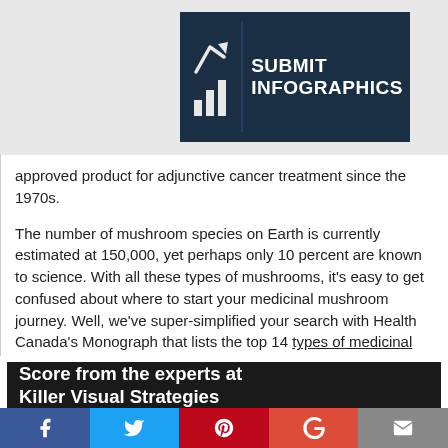[Figure (logo): Submit Infographics logo with dark navy background, chart icon on left and bold white text 'SUBMIT INFOGRAPHICS' on right]
approved product for adjunctive cancer treatment since the 1970s.
The number of mushroom species on Earth is currently estimated at 150,000, yet perhaps only 10 percent are known to science. With all these types of mushrooms, it's easy to get confused about where to start your medicinal mushroom journey. Well, we've super-simplified your search with Health Canada's Monograph that lists the top 14 types of medicinal mushrooms in the world.
[Figure (infographic): Dark banner with bold white text reading 'Score from the experts at Killer Visual Strategies']
Facebook | Twitter | Pinterest | Google+ | Email social sharing bar